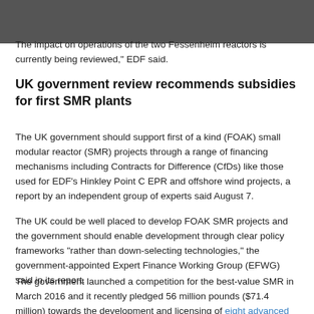The impact on operations of the two Fessenheim reactors is currently being reviewed," EDF said.
UK government review recommends subsidies for first SMR plants
The UK government should support first of a kind (FOAK) small modular reactor (SMR) projects through a range of financing mechanisms including Contracts for Difference (CfDs) like those used for EDF's Hinkley Point C EPR and offshore wind projects, a report by an independent group of experts said August 7.
The UK could be well placed to develop FOAK SMR projects and the government should enable development through clear policy frameworks "rather than down-selecting technologies," the government-appointed Expert Finance Working Group (EFWG) said in its report.
The government launched a competition for the best-value SMR in March 2016 and it recently pledged 56 million pounds ($71.4 million) towards the development and licensing of eight advanced reactor designs.